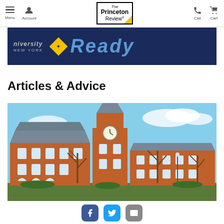Menu | Account | The Princeton Review | Call | Cart
[Figure (photo): Banner advertisement for a university in New York with yellow diamond logo and 'Ready' text on dark blue background]
Articles & Advice
[Figure (photo): Photograph of a brick university building with a clock tower and bare winter trees against a blue sky]
Facebook | Twitter | Email social share buttons